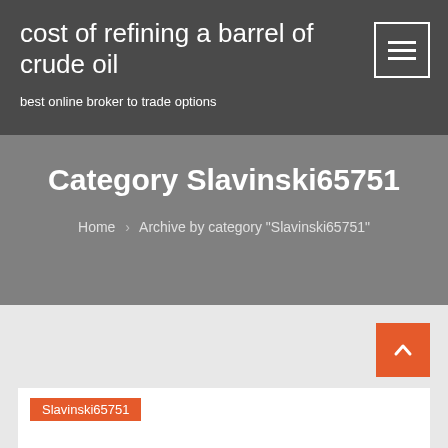cost of refining a barrel of crude oil
best online broker to trade options
Category Slavinski65751
Home > Archive by category "Slavinski65751"
Slavinski65751